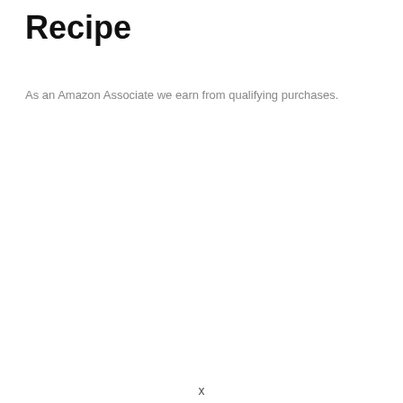Recipe
As an Amazon Associate we earn from qualifying purchases.
x